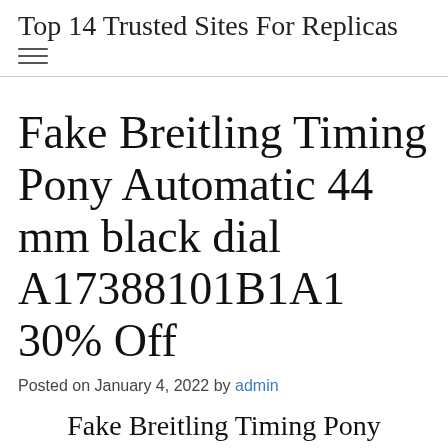Top 14 Trusted Sites For Replicas
Fake Breitling Timing Pony Automatic 44 mm black dial A17388101B1A1 30% Off
Posted on January 4, 2022 by admin
Fake Breitling Timing Pony Automatic 44 mm black dial